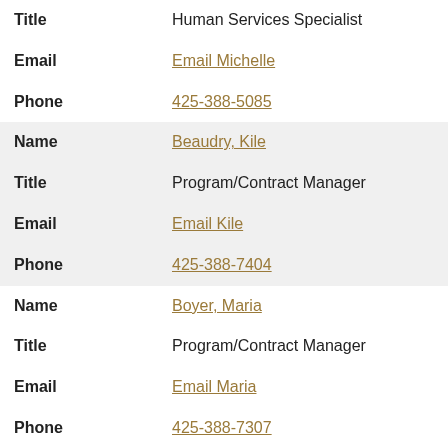| Field | Value |
| --- | --- |
| Title | Human Services Specialist |
| Email | Email Michelle |
| Phone | 425-388-5085 |
| Name | Beaudry, Kile |
| Title | Program/Contract Manager |
| Email | Email Kile |
| Phone | 425-388-7404 |
| Name | Boyer, Maria |
| Title | Program/Contract Manager |
| Email | Email Maria |
| Phone | 425-388-7307 |
| Name | Caplan, Cole |
| Title | LTCA Supervisor, Direct Services |